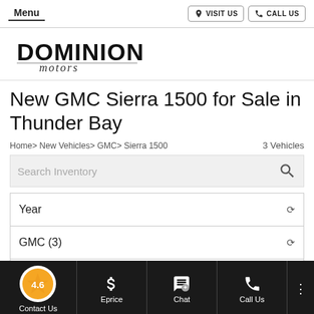Menu | VISIT US | CALL US
[Figure (logo): Dominion Motors logo in black text]
New GMC Sierra 1500 for Sale in Thunder Bay
Home> New Vehicles> GMC> Sierra 1500    3 Vehicles
Search Inventory
Year
GMC (3)
Sierra 1500 (3)
4.6 Contact Us | $ Eprice | Chat | Call Us | ...